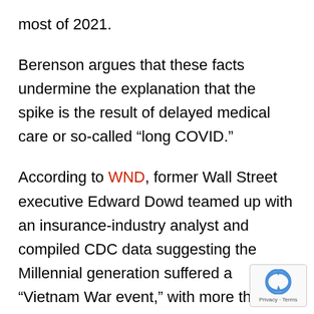most of 2021.
Berenson argues that these facts undermine the explanation that the spike is the result of delayed medical care or so-called “long COVID.”
According to WND, former Wall Street executive Edward Dowd teamed up with an insurance-industry analyst and compiled CDC data suggesting the Millennial generation suffered a “Vietnam War event,” with more than 61,000 excess deaths from March 2021 to February 2022.
[Figure (logo): reCAPTCHA badge with circular arrow logo and Privacy - Terms text]